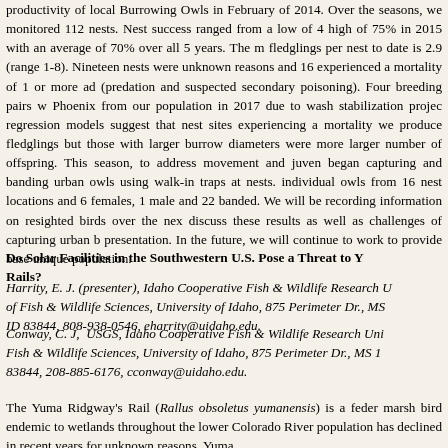productivity of local Burrowing Owls in February of 2014. Over the seasons, we monitored 112 nests. Nest success ranged from a low of 4 high of 75% in 2015 with an average of 70% over all 5 years. The fledglings per nest to date is 2.9 (range 1-8). Nineteen nests were unknown reasons and 16 experienced a mortality of 1 or more ad (predation and suspected secondary poisoning). Four breeding pairs w Phoenix from our population in 2017 due to wash stabilization projec regression models suggest that nest sites experiencing a mortality we produce fledglings but those with larger burrow diameters were more larger number of offspring. This season, to address movement and juven began capturing and banding urban owls using walk-in traps at nests. individual owls from 16 nest locations and 6 females, 1 male and 22 banded. We will be recording information on resighted birds over the nex discuss these results as well as challenges of capturing urban b presentation. In the future, we will continue to work to provide base unique population.
Do Solar Facilities in the Southwestern U.S. Pose a Threat to Yuma Rails?
Harrity, E. J. (presenter), Idaho Cooperative Fish & Wildlife Research U of Fish & Wildlife Sciences, University of Idaho, 875 Perimeter Dr., MS ID 83844, 808-938-0546, eharrity@uidaho.edu.
Conway, C. J, USGS, Idaho Cooperative Fish & Wildlife Research Uni Fish & Wildlife Sciences, University of Idaho, 875 Perimeter Dr., MS 1 83844, 208-885-6176, cconway@uidaho.edu.
The Yuma Ridgway's Rail (Rallus obsoletus yumanensis) is a feder marsh bird endemic to wetlands throughout the lower Colorado River population has declined in recent years for unknown reasons. Yuma